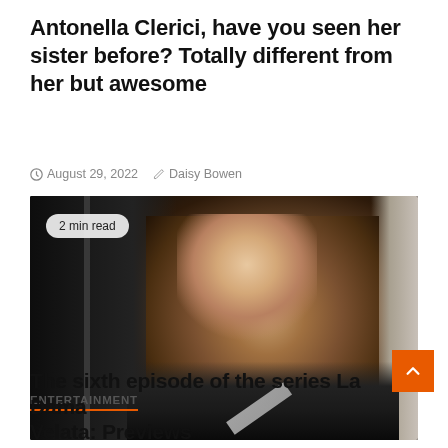Antonella Clerici, have you seen her sister before? Totally different from her but awesome
August 29, 2022  Daisy Bowen
[Figure (photo): Dark moody portrait of a young woman with long brown hair, wearing a dark jacket with a light strap, standing near a dark door. A '2 min read' badge overlays the top-left of the image.]
ENTERTAINMENT
The sixth episode of the series La Dama Velata: Previews